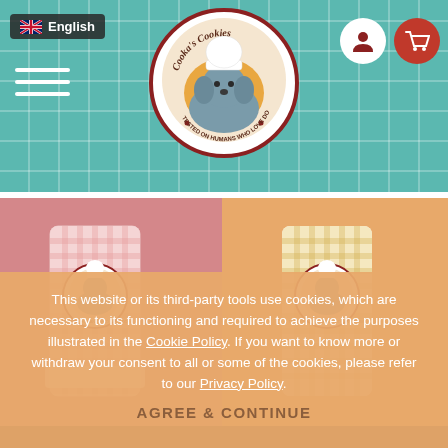[Figure (screenshot): Website header with teal gingham background, language selector showing English with UK flag, hamburger menu, Cooka's Cookies circular logo in center, user account and shopping cart icons top right]
[Figure (photo): Two Cooka's Cookies product bags side by side — left bag on pink background, right bag on orange/peach background, both displaying the Cooka's Cookies circular logo]
This website or its third-party tools use cookies, which are necessary to its functioning and required to achieve the purposes illustrated in the Cookie Policy. If you want to know more or withdraw your consent to all or some of the cookies, please refer to our Privacy Policy.
AGREE & CONTINUE